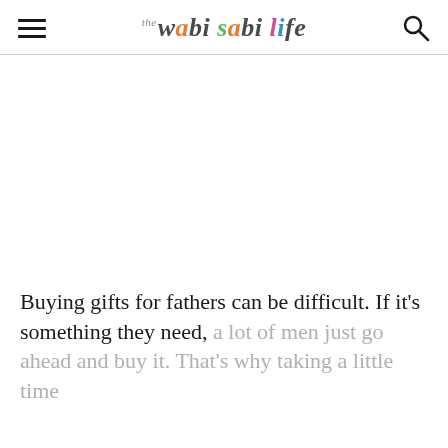the wabi sabi life
[Figure (other): Advertisement / blank white area placeholder]
Buying gifts for fathers can be difficult. If it's something they need, a lot of men just go ahead and buy it. That's why taking a little time...